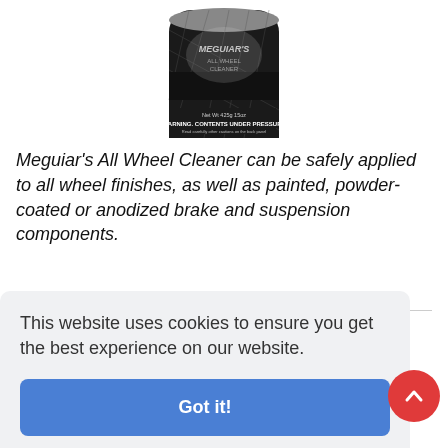[Figure (photo): Meguiar's All Wheel Cleaner spray can, black and silver, showing WARNING label and contents under pressure text at bottom, partially cropped at top]
Meguiar's All Wheel Cleaner can be safely applied to all wheel finishes, as well as painted, powder-coated or anodized brake and suspension components.
This website uses cookies to ensure you get the best experience on our website.
Got it!